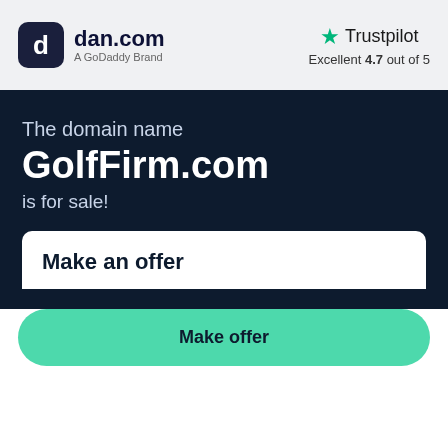[Figure (logo): dan.com logo — dark rounded square icon with white 'd' symbol, followed by 'dan.com' text in bold dark and 'A GoDaddy Brand' subtitle]
[Figure (logo): Trustpilot logo — green star icon next to 'Trustpilot' text, with 'Excellent 4.7 out of 5' rating below]
The domain name
GolfFirm.com
is for sale!
Make an offer
Make offer